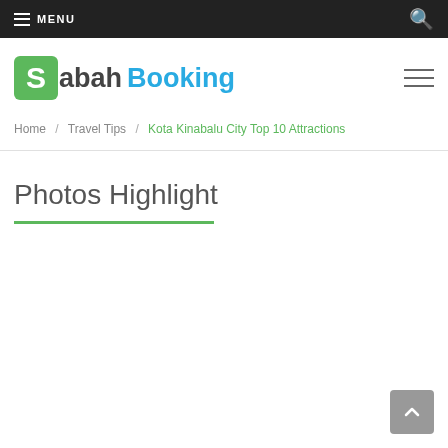☰ MENU
[Figure (logo): Sabah Booking logo with green S box and blue Booking text]
Home / Travel Tips / Kota Kinabalu City Top 10 Attractions
Photos Highlight